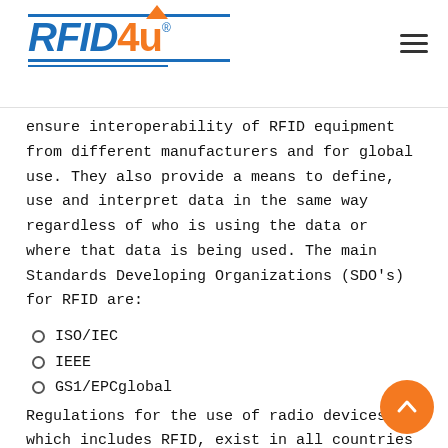RFID4u logo and navigation header
ensure interoperability of RFID equipment from different manufacturers and for global use. They also provide a means to define, use and interpret data in the same way regardless of who is using the data or where that data is being used. The main Standards Developing Organizations (SDO’s) for RFID are:
ISO/IEC
IEEE
GS1/EPCglobal
Regulations for the use of radio devices, which includes RFID, exist in all countries and each country is responsible for defining its own regulations. Some countries are part of a regional